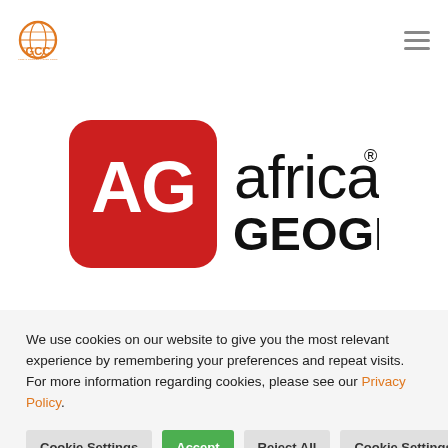[Figure (logo): GCC Global Conservation Corps logo - orange circular icon with globe and 'GCC' text]
[Figure (logo): Africa Geographic logo - red rounded rectangle with 'AG' in white, followed by 'africa GEOGRAPHIC' in black text]
We use cookies on our website to give you the most relevant experience by remembering your preferences and repeat visits. For more information regarding cookies, please see our Privacy Policy.
Cookie Settings
Accept
Reject All
Cookie Settings